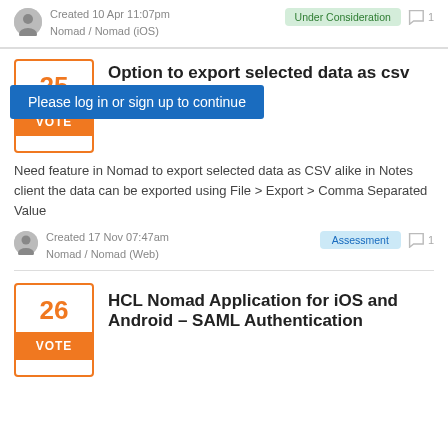Created 10 Apr 11:07pm
Nomad / Nomad (iOS)
Under Consideration
1
Please log in or sign up to continue
25 VOTE
Option to export selected data as csv
Need feature in Nomad to export selected data as CSV alike in Notes client the data can be exported using File > Export > Comma Separated Value
Created 17 Nov 07:47am
Nomad / Nomad (Web)
Assessment
1
26 VOTE
HCL Nomad Application for iOS and Android – SAML Authentication